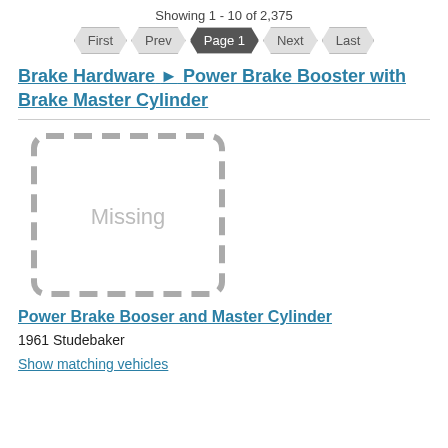Showing 1 - 10 of 2,375
First  Prev  Page 1  Next  Last
Brake Hardware ► Power Brake Booster with Brake Master Cylinder
[Figure (illustration): Dashed border rectangle placeholder image with 'Missing' text in gray]
Power Brake Booser and Master Cylinder
1961 Studebaker
Show matching vehicles